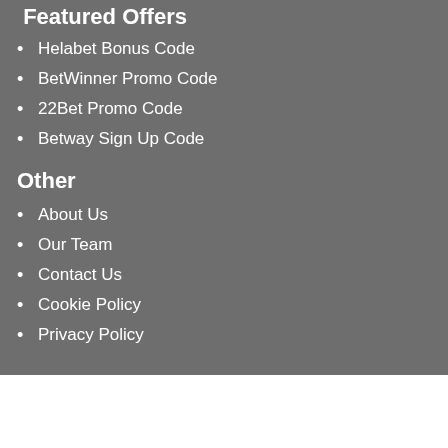Featured Offers
Helabet Bonus Code
BetWinner Promo Code
22Bet Promo Code
Betway Sign Up Code
Other
About Us
Our Team
Contact Us
Cookie Policy
Privacy Policy